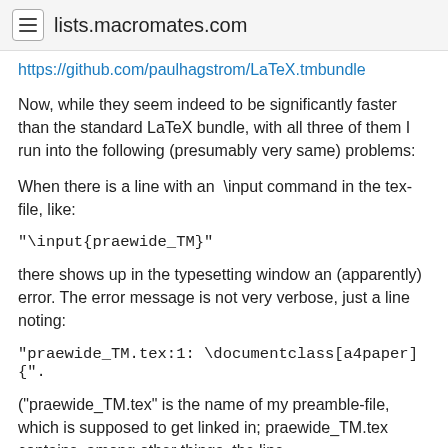lists.macromates.com
https://github.com/paulhagstrom/LaTeX.tmbundle
Now, while they seem indeed to be significantly faster than the standard LaTeX bundle, with all three of them I run into the following (presumably very same) problems:
When there is a line with an  \input command in the tex-file, like:
"\input{praewide_TM}"
there shows up in the typesetting window an (apparently) error. The error message is not very verbose, just a line noting:
"praewide_TM.tex:1: \documentclass[a4paper]{".
("praewide_TM.tex" is the name of my preamble-file, which is supposed to get linked in; praewide_TM.tex contains, among other things, the line "\documentclass[a4paper]...". This works with TM's LaTeX standard bundle as expected. It also works